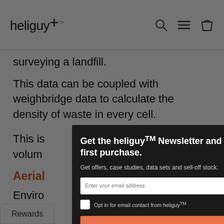[Figure (logo): heliguy logo with plus sign and TM mark, search icon, hamburger menu icon, and shopping bag icon in the header]
surveying a landfill.
This data can be coupled with weighbridge data to calculate the density of waste in every cell.
This is [partially obscured] volum[e...]
Aerial [...]
Enviro[nmental...] any landfi[ll...]
This i[s...]
[Figure (screenshot): Modal popup with dark background: 'Get the heliguyTM Newsletter and £10 off your first purchase.' with email input, opt-in checkbox, and 'Keep Me Updated' orange button]
Rewards
d